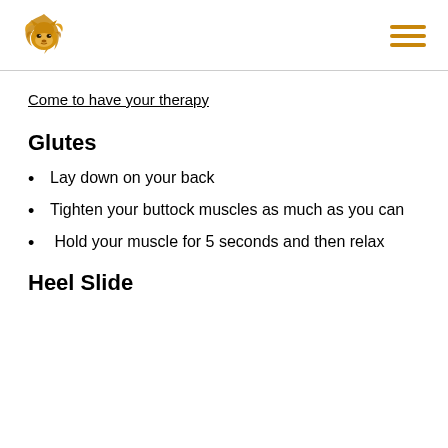Come to have your therapy
Glutes
Lay down on your back
Tighten your buttock muscles as much as you can
Hold your muscle for 5 seconds and then relax
Heel Slide